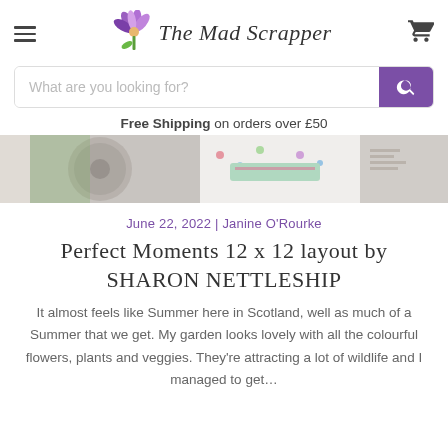The Mad Scrapper
What are you looking for?
Free Shipping on orders over £50
[Figure (photo): Scrapbooking layout banner image showing crafting pages with flowers and text]
June 22, 2022 | Janine O'Rourke
Perfect Moments 12 x 12 layout by SHARON NETTLESHIP
It almost feels like Summer here in Scotland, well as much of a Summer that we get. My garden looks lovely with all the colourful flowers, plants and veggies. They're attracting a lot of wildlife and I managed to get...